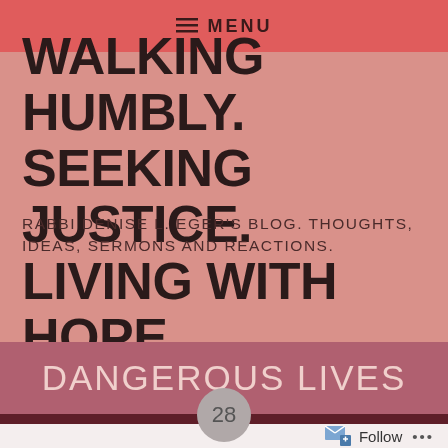≡ MENU
WALKING HUMBLY. SEEKING JUSTICE. LIVING WITH HOPE.
RABBI DENISE L. EGER'S BLOG. THOUGHTS, IDEAS, SERMONS AND REACTIONS.
DANGEROUS LIVES
28
FEBRUARY 2012
Follow ...